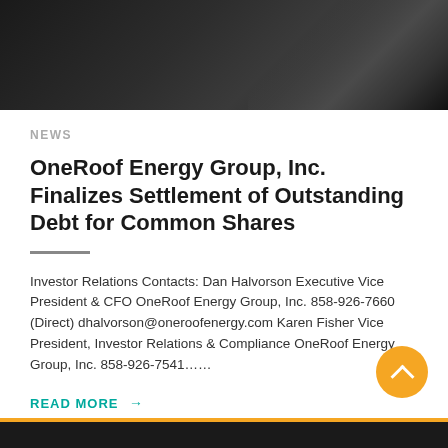[Figure (photo): Dark geometric header image with diagonal shapes in shades of dark gray and black]
NEWS
OneRoof Energy Group, Inc. Finalizes Settlement of Outstanding Debt for Common Shares
Investor Relations Contacts: Dan Halvorson Executive Vice President & CFO OneRoof Energy Group, Inc. 858-926-7660 (Direct) dhalvorson@oneroofenergy.com Karen Fisher Vice President, Investor Relations & Compliance OneRoof Energy Group, Inc. 858-926-7541……
READ MORE →